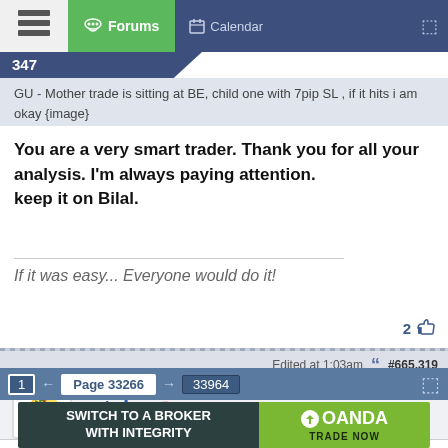Forums | Calendar
GU - Mother trade is sitting at BE, child one with 7pip SL , if it hits i am okay {image}
You are a very smart trader. Thank you for all your analysis. I'm always paying attention.
keep it on Bilal.
If it was easy... Everyone would do it!
2
Edited at 1:03am  #665,319
mtako
Quoting BigNumbers
BUY BUY BUY 26000 is calling and the move is going to be very aggressive....
1  ←  Page 33266  →  33964